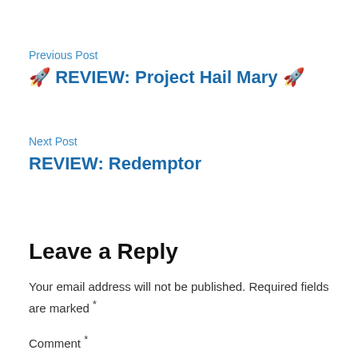Previous Post
🚀 REVIEW: Project Hail Mary 🚀
Next Post
REVIEW: Redemptor
Leave a Reply
Your email address will not be published. Required fields are marked *
Comment *